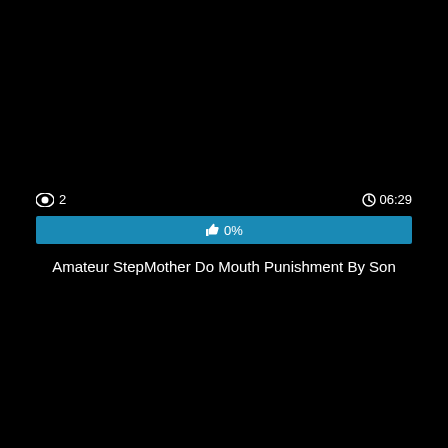👁 2
⏱ 06:29
[Figure (infographic): Blue progress bar showing 0% with thumbs up icon]
Amateur StepMother Do Mouth Punishment By Son